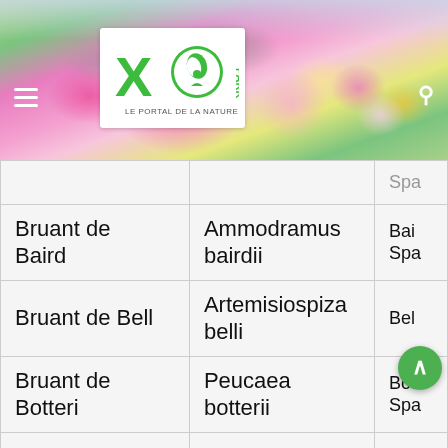[Figure (photo): Garden flowers background photo with XO Park logo (green X, leaf/nature icon, PARK text, LE PORTAL DE LA NATURE subtitle) overlaid on top]
| Nom français | Nom scientifique | Nom anglais |
| --- | --- | --- |
| (partiel) | (partiel) | Spa... |
| Bruant de Baird | Ammodramus bairdii | Bai... Spa... |
| Bruant de Bell | Artemisiospiza belli | Bel... |
| Bruant de Botteri | Peucaea botterii | Bot... Spa... |
| Bruant de Brewer | Spizella breweri | Bre... Spa... |